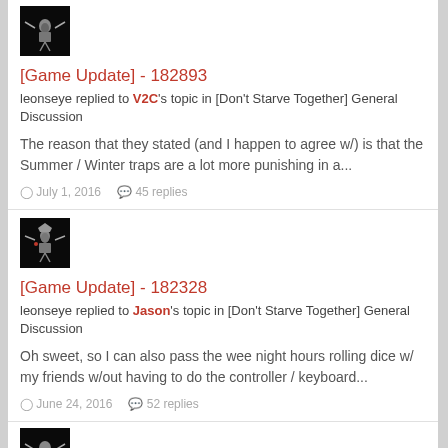[Figure (illustration): User avatar, dark background with character illustration]
[Game Update] - 182893
leonseye replied to V2C's topic in [Don't Starve Together] General Discussion
The reason that they stated (and I happen to agree w/) is that the Summer / Winter traps are a lot more punishing in a...
July 1, 2016   45 replies
[Figure (illustration): User avatar, dark background with character illustration]
[Game Update] - 182328
leonseye replied to Jason's topic in [Don't Starve Together] General Discussion
Oh sweet, so I can also pass the wee night hours rolling dice w/ my friends w/out having to do the controller / keyboard...
June 24, 2016   52 replies
[Figure (illustration): User avatar, dark background with character illustration (partially visible)]